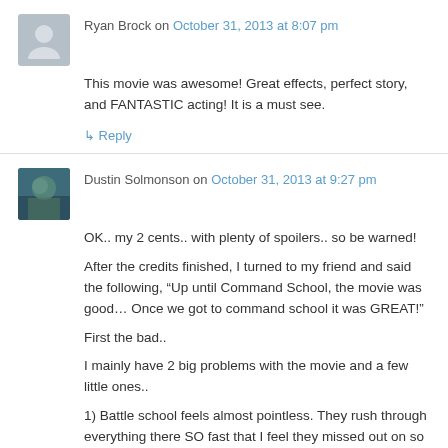Ryan Brock on October 31, 2013 at 8:07 pm
This movie was awesome! Great effects, perfect story, and FANTASTIC acting! It is a must see.
↳ Reply
Dustin Solmonson on October 31, 2013 at 9:27 pm
OK.. my 2 cents.. with plenty of spoilers.. so be warned!
After the credits finished, I turned to my friend and said the following, “Up until Command School, the movie was good… Once we got to command school it was GREAT!"
First the bad..
I mainly have 2 big problems with the movie and a few little ones..
1) Battle school feels almost pointless. They rush through everything there SO fast that I feel they missed out on so much character and relationship development. When Ender